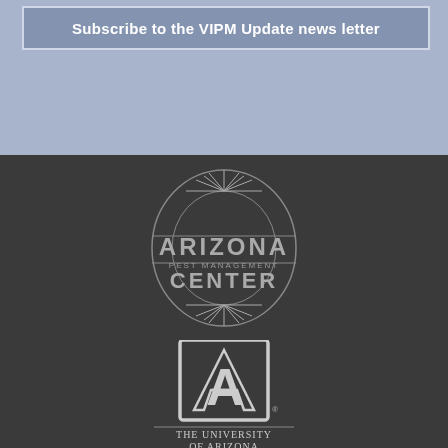Subscribe to the VIPM Update news letter
[Figure (logo): Arizona Pest Management Center logo with starburst emblem, horizontal lines, and text ARIZONA PEST MANAGEMENT CENTER on dark background]
[Figure (logo): The University of Arizona block A logo with text The University of Arizona College of Agriculture on dark background]